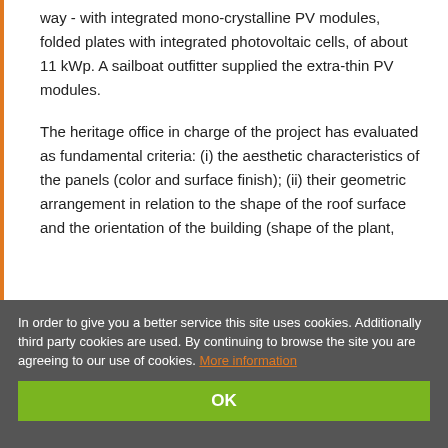way - with integrated mono-crystalline PV modules, folded plates with integrated photovoltaic cells, of about 11 kWp. A sailboat outfitter supplied the extra-thin PV modules.

The heritage office in charge of the project has evaluated as fundamental criteria: (i) the aesthetic characteristics of the panels (color and surface finish); (ii) their geometric arrangement in relation to the shape of the roof surface and the orientation of the building (shape of the plant,
In order to give you a better service this site uses cookies. Additionally third party cookies are used. By continuing to browse the site you are agreeing to our use of cookies. More information